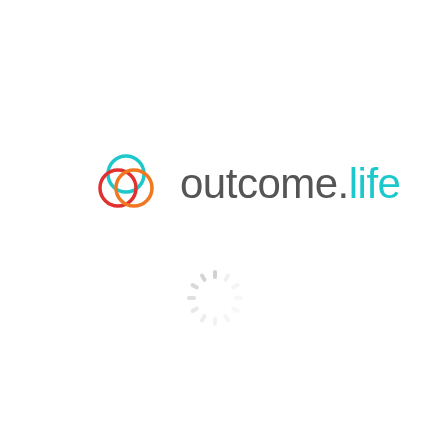[Figure (logo): outcome.life logo with overlapping colorful circles (teal, red, orange) and the text 'outcome.life' where 'outcome.' is in dark gray and 'life' is in teal]
[Figure (other): A circular loading spinner made of short gray dashes arranged in a circle pattern]